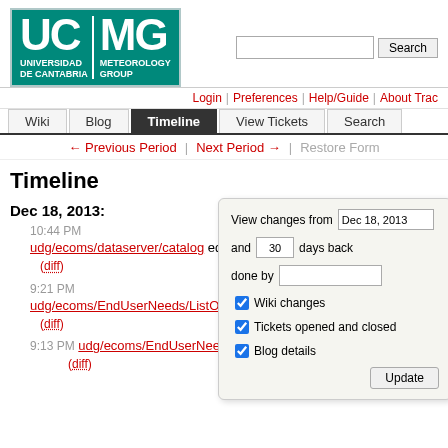[Figure (logo): UC MG Universidad de Cantabria Meteorology Group logo with teal background]
Login | Preferences | Help/Guide | About Trac
Wiki | Blog | Timeline | View Tickets | Search
← Previous Period | Next Period → | Restore Form
Timeline
Dec 18, 2013:
10:44 PM
udg/ecoms/dataserver/catalog edited by gutierjm (diff)
9:21 PM
udg/ecoms/EndUserNeeds/ListOfVariables edited by maru (diff)
9:13 PM udg/ecoms/EndUserNeeds/ListOfVariables edited by maru (diff)
[Figure (screenshot): View changes panel with date Dec 18 2013, 30 days back, done by field, checkboxes for Wiki changes, Tickets opened and closed, Blog details, and Update button]